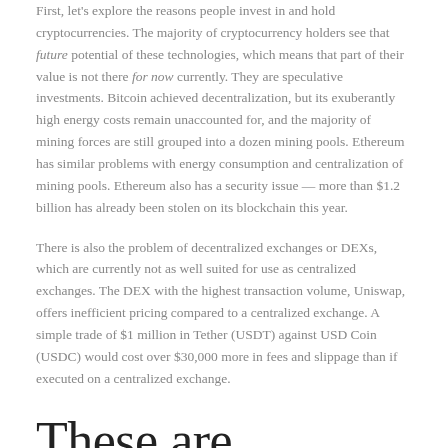First, let's explore the reasons people invest in and hold cryptocurrencies. The majority of cryptocurrency holders see that future potential of these technologies, which means that part of their value is not there for now currently. They are speculative investments. Bitcoin achieved decentralization, but its exuberantly high energy costs remain unaccounted for, and the majority of mining forces are still grouped into a dozen mining pools. Ethereum has similar problems with energy consumption and centralization of mining pools. Ethereum also has a security issue — more than $1.2 billion has already been stolen on its blockchain this year.
There is also the problem of decentralized exchanges or DEXs, which are currently not as well suited for use as centralized exchanges. The DEX with the highest transaction volume, Uniswap, offers inefficient pricing compared to a centralized exchange. A simple trade of $1 million in Tether (USDT) against USD Coin (USDC) would cost over $30,000 more in fees and slippage than if executed on a centralized exchange.
These are technical